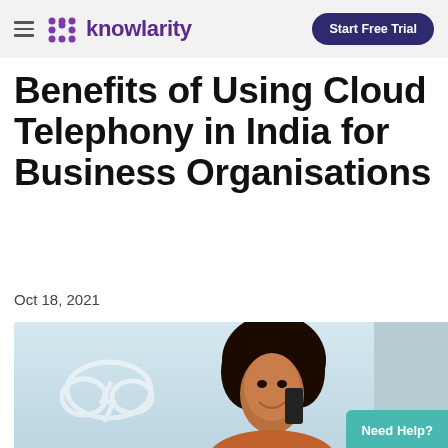knowlarity | Start Free Trial
Benefits of Using Cloud Telephony in India for Business Organisations
Oct 18, 2021
[Figure (photo): Smiling woman with curly hair talking on a mobile phone, with a cloud icon graphic overlay on the left side of the image]
Need Help?